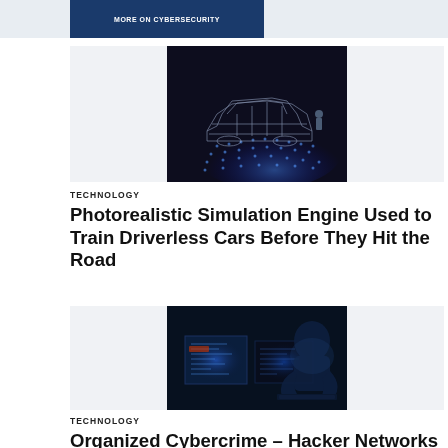MORE ON CYBERSECURITY
[Figure (photo): Wireframe/digital rendering of a car with glowing blue dot pattern on road surface, representing autonomous vehicle simulation]
TECHNOLOGY
Photorealistic Simulation Engine Used to Train Driverless Cars Before They Hit the Road
[Figure (photo): A dark hooded figure (hacker) seated in front of two computer monitors with blue glowing screens, in a dark room]
TECHNOLOGY
Organized Cybercrime – Hacker Networks